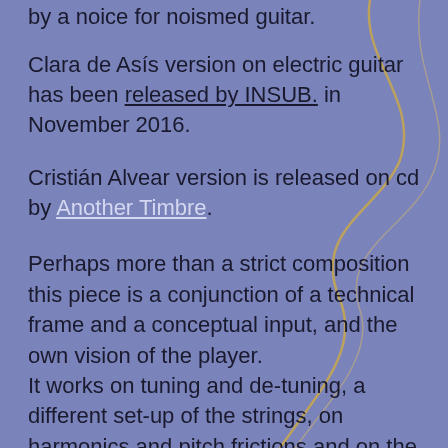by a noice for noismed guitar.
Clara de Asís version on electric guitar has been released by INSUB. in November 2016.
Cristián Alvear version is released on cd by Another Timbre.
Perhaps more than a strict composition this piece is a conjunction of a technical frame and a conceptual input, and the own vision of the player. It works on tuning and de-tuning, a different set-up of the strings, on harmonics and pitch frictions and on the influences of music from very various